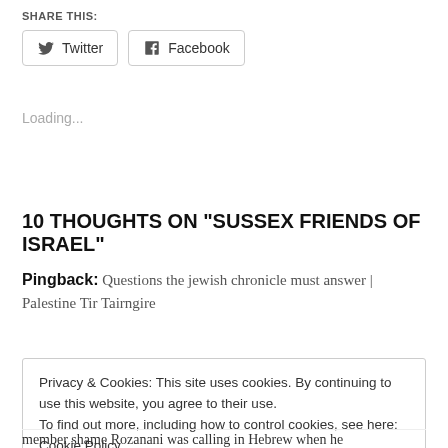SHARE THIS:
[Figure (other): Social sharing buttons for Twitter and Facebook]
Loading...
10 THOUGHTS ON “SUSSEX FRIENDS OF ISRAEL”
Pingback: Questions the jewish chronicle must answer | Palestine Tir Tairngire
Privacy & Cookies: This site uses cookies. By continuing to use this website, you agree to their use. To find out more, including how to control cookies, see here: Cookie Policy
member shame Rozanani was calling in Hebrew when he